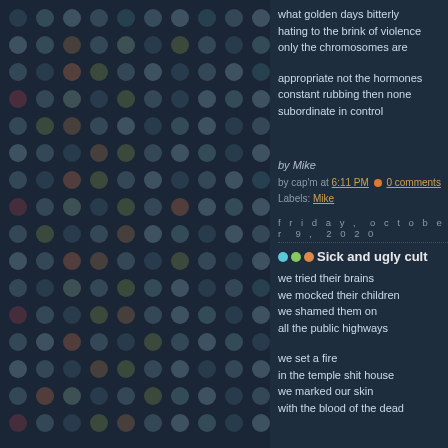what golden days bitterly
hating to the brink of violence
only the chromosomes are
appropriate not the hormones
constant rubbing then none
subordinate in control
by Mike
by cap'm at 6:11 PM 🟠 0 comments
Labels: Mike
friday, october 9, 2020
Sick and ugly cult
we tried their brains
we mocked their children
we shamed them on
all the public highways
we set a fire
in the temple shit house
we marked our skin
with the blood of the dead